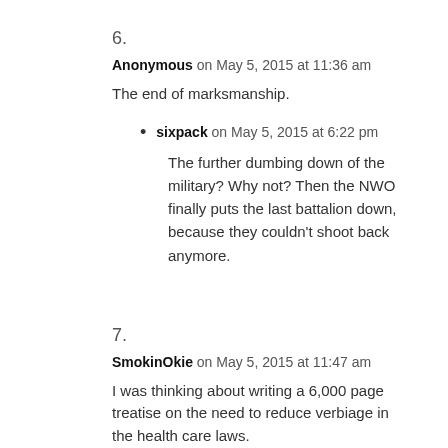6.
Anonymous on May 5, 2015 at 11:36 am
The end of marksmanship.
sixpack on May 5, 2015 at 6:22 pm
The further dumbing down of the military? Why not? Then the NWO finally puts the last battalion down, because they couldn't shoot back anymore.
7.
SmokinOkie on May 5, 2015 at 11:47 am
I was thinking about writing a 6,000 page treatise on the need to reduce verbiage in the health care laws.